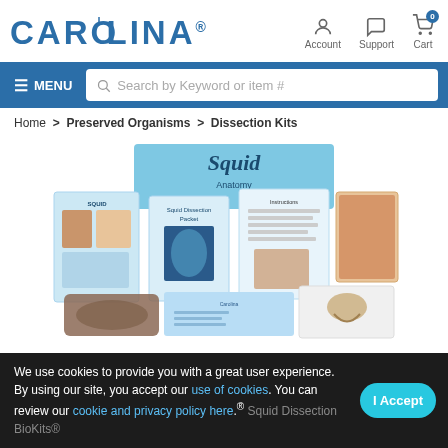[Figure (logo): Carolina Biological Supply Company logo in blue bold text]
Account  Support  Cart
≡ MENU  Search by Keyword or item #
Home > Preserved Organisms > Dissection Kits
[Figure (photo): Squid dissection BioKits product photo showing anatomy chart, dissection booklet, preserved squid specimens, and instructional materials spread out]
We use cookies to provide you with a great user experience. By using our site, you accept our use of cookies. You can review our cookie and privacy policy here.® Squid Dissection BioKits®